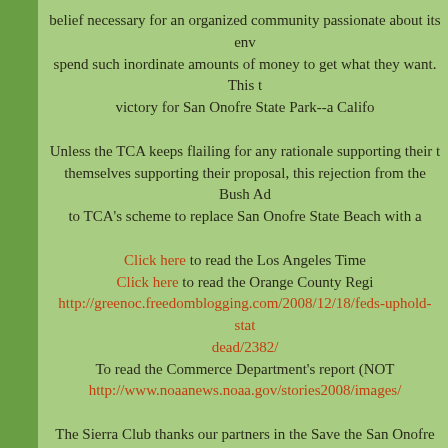belief necessary for an organized community passionate about its env spend such inordinate amounts of money to get what they want. This t victory for San Onofre State Park--a Califo
Unless the TCA keeps flailing for any rationale supporting their t themselves supporting their proposal, this rejection from the Bush Ad to TCA's scheme to replace San Onofre State Beach with a
Click here to read the Los Angeles Time Click here to read the Orange County Regi http://greenoc.freedomblogging.com/2008/12/18/feds-uphold-stat dead/2382/ To read the Commerce Department's report (NOT http://www.noaanews.noaa.gov/stories2008/images/
The Sierra Club thanks our partners in the Save the San Onofre Coal help was invaluable in achieving this victory. California State Park NRDC, Endangered Habitats League, Audubon Society, Wildcoast, individuals who worked together to help ensure the San Mateo Cam Mateo Watershed remain pristine for future gen